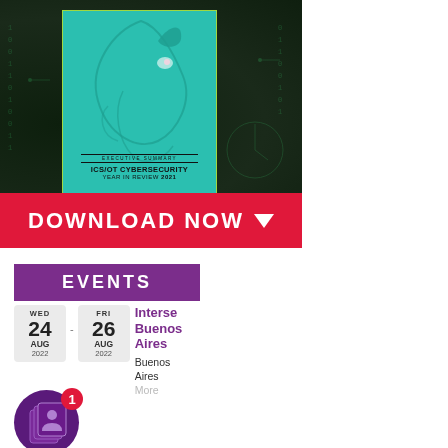[Figure (illustration): Dragos ICS/OT Cybersecurity Year in Review 2021 Executive Summary book cover displayed on a dark circuit-board background, with a teal dragon illustration. Below the book is a red bar with 'DOWNLOAD NOW' button with a downward arrow.]
EVENTS
WED 24 AUG 2022 - FRI 26 AUG 2022: Intersec Buenos Aires, Buenos Aires. More